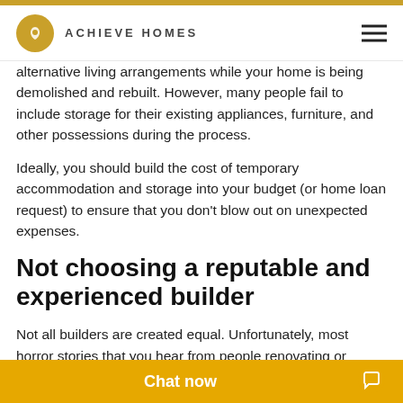ACHIEVE HOMES
alternative living arrangements while your home is being demolished and rebuilt. However, many people fail to include storage for their existing appliances, furniture, and other possessions during the process.
Ideally, you should build the cost of temporary accommodation and storage into your budget (or home loan request) to ensure that you don't blow out on unexpected expenses.
Not choosing a reputable and experienced builder
Not all builders are created equal. Unfortunately, most horror stories that you hear from people renovating or building their new home are to do with their choice of builder.
You will need to sign a contract with your builder who will then be responsible